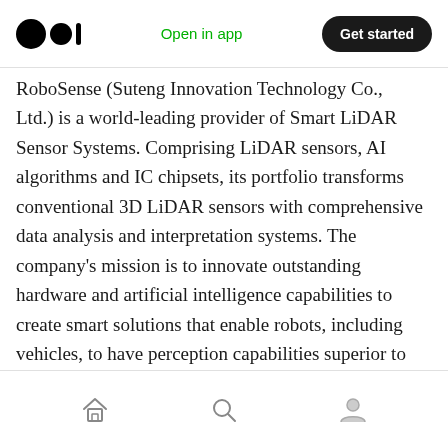Open in app | Get started
RoboSense (Suteng Innovation Technology Co., Ltd.) is a world-leading provider of Smart LiDAR Sensor Systems. Comprising LiDAR sensors, AI algorithms and IC chipsets, its portfolio transforms conventional 3D LiDAR sensors with comprehensive data analysis and interpretation systems. The company’s mission is to innovate outstanding hardware and artificial intelligence capabilities to create smart solutions that enable robots, including vehicles, to have perception capabilities superior to humans.
Home | Search | Profile